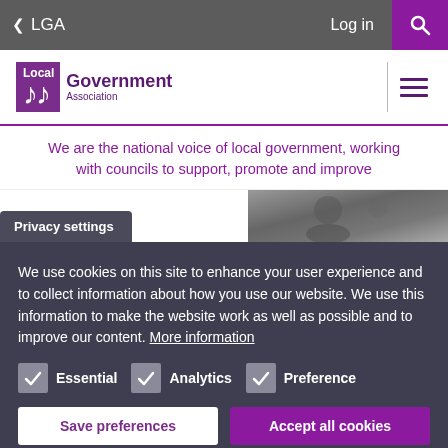< LGA   Log in  [search]
[Figure (logo): Local Government Association logo — purple box with 'Local' text and wave mark, 'Government' and 'Association' text to the right]
We are the national voice of local government, working with councils to support, promote and improve
Privacy settings
We use cookies on this site to enhance your user experience and to collect information about how you use our website. We use this information to make the website work as well as possible and to improve our content. More information
Essential
Analytics
Preference
Save preferences   Accept all cookies